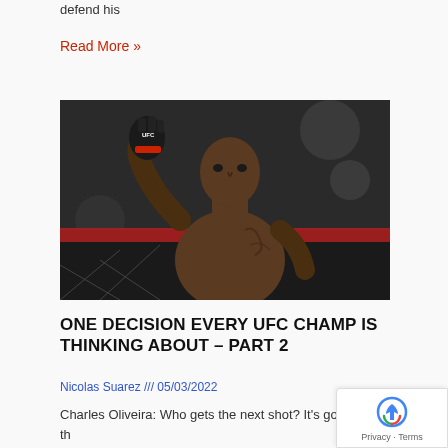defend his
Read More »
[Figure (photo): UFC fighter Israel Adesanya shirtless in the octagon, wearing UFC gloves, raising his right hand, with a chain-link fence background]
ONE DECISION EVERY UFC CHAMP IS THINKING ABOUT – PART 2
Nicolas Suarez /// 05/03/2022
Charles Oliveira: Who gets the next shot? It's good to be the champ. Not only do you have what everyone wants, but you also get to sit back and watch everyone